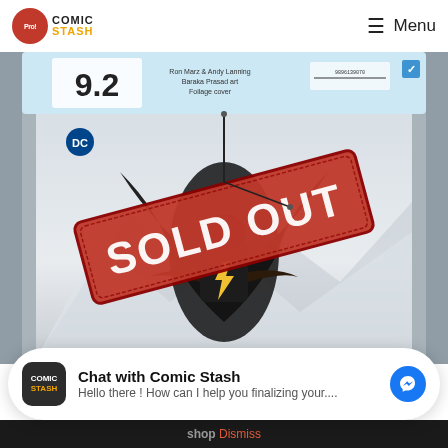Comic Stash — Menu
[Figure (photo): CGC graded comic book showing Black Adam (DC Comics) in a plastic case with a CGC 9.2 grade label at the top. A large red 'SOLD OUT' stamp overlay is displayed across the top portion of the image. The comic cover shows Black Adam flying in a snowy scene.]
Chat with Comic Stash
Hello there ! How can I help you finalizing your....
shop Dismiss